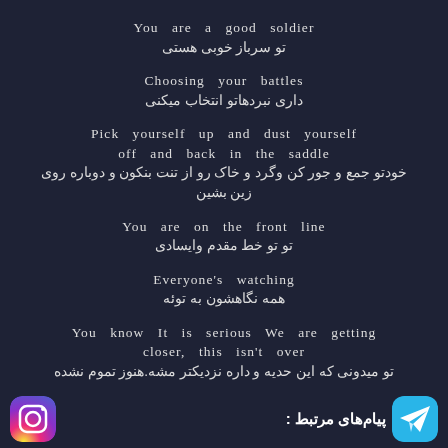You are a good soldier
تو سرباز خوبی هستی
Choosing your battles
داری نبردهاتو انتخاب میکنی
Pick yourself up and dust yourself off and back in the saddle
خودتو جمع و جور کن وگرد و خاک رو از تنت بنکون و دوباره روی زین بشین
You are on the front line
تو تو خط مقدم وایسادی
Everyone's watching
همه نگاهشون به توئه
You know It is serious We are getting closer, this isn't over
تو میدونی که این حدیه و داره نزدیکتر مشه.هنوز تموم نشده
پیام‌های مرتبط :